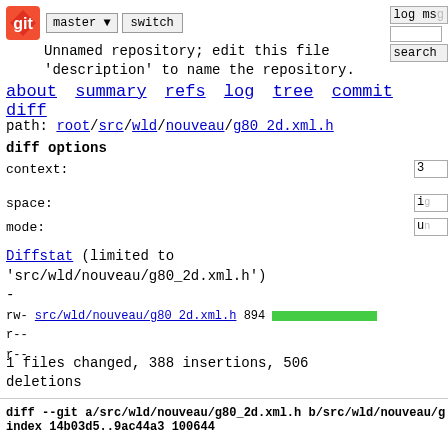[Figure (logo): Git logo - orange diamond shape with white git symbol]
Unnamed repository; edit this file 'description' to name the repository.
about  summary  refs  log  tree  commit  diff
path: root/src/wld/nouveau/g80_2d.xml.h
diff options
context:
space:
mode:
Diffstat (limited to 'src/wld/nouveau/g80_2d.xml.h')
-
rw-
r--
r--
src/wld/nouveau/g80_2d.xml.h 894
1 files changed, 388 insertions, 506 deletions
diff --git a/src/wld/nouveau/g80_2d.xml.h b/src/wld/nouveau/g
index 14b03d5..9ac44a3 100644